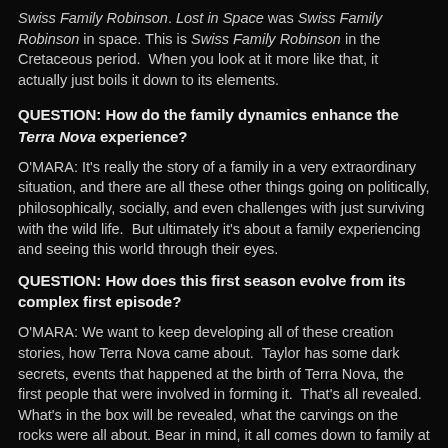Swiss Family Robinson. Lost in Space was Swiss Family Robinson in space. This is Swiss Family Robinson in the Cretaceous period.  When you look at it more like that, it actually just boils it down to its elements.
QUESTION: How do the family dynamics enhance the Terra Nova experience?
O'MARA: It's really the story of a family in a very extraordinary situation, and there are all these other things going on politically, philosophically, socially, and even challenges with just surviving with the wild life.  But ultimately it's about a family experiencing and seeing this world through their eyes.
QUESTION: How does this first season evolve from its complex first episode?
O'MARA: We want to keep developing all of these creation stories, how Terra Nova came about.  Taylor has some dark secrets, events that happened at the birth of Terra Nova, the first people that were involved in forming it.  That's all revealed. What's in the box will be revealed, what the carvings on the rocks were all about. Bear in mind, it all comes down to family at the end of the day.  That's an important clue as to what's going to